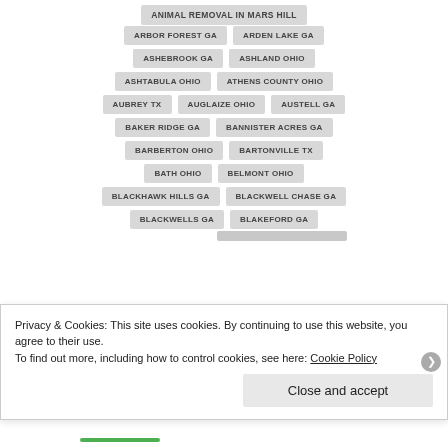ANIMAL REMOVAL IN MARS HILL
ARBOR FOREST GA
ARDEN LAKE GA
ASHEBROOK GA
ASHLAND OHIO
ASHTABULA OHIO
ATHENS COUNTY OHIO
AUBREY TX
AUGLAIZE OHIO
AUSTELL GA
BAKER RIDGE GA
BANNISTER ACRES GA
BARBERTON OHIO
BARTONVILLE TX
BATH OHIO
BELMONT OHIO
BLACKHAWK HILLS GA
BLACKWELL CHASE GA
BLACKWELLS GA
BLAKEFORD GA
Privacy & Cookies: This site uses cookies. By continuing to use this website, you agree to their use. To find out more, including how to control cookies, see here: Cookie Policy
Close and accept